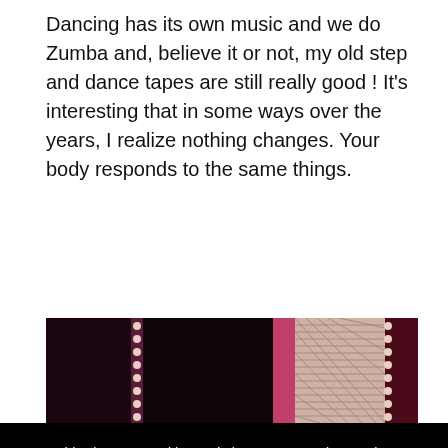Dancing has its own music and we do Zumba and, believe it or not, my old step and dance tapes are still really good ! It's interesting that in some ways over the years, I realize nothing changes. Your body responds to the same things.
[Figure (photo): Close-up photo of dance/fitness costume fabric with fishnet stockings, glittery pink trim, and dark fabric panels against a wooden floor background]
This site uses cookies and gives you control over what you want to activate
OK, ACCEPT ALL
PERSONALIZE